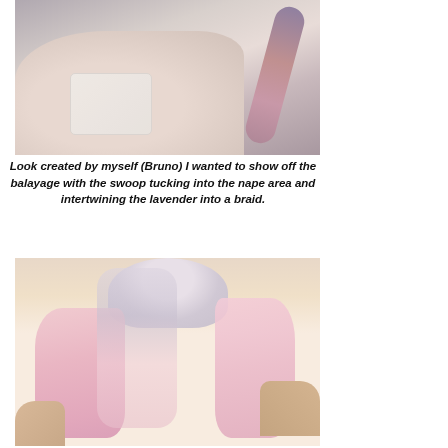[Figure (photo): Back view of a person with a pink and lavender braided hairstyle, showing a braid hanging over the shoulder against a light background. The person is wearing a white lacy top.]
Look created by myself (Bruno) I wanted to show off the balayage with the swoop tucking into the nape area and intertwining the lavender into a braid.
[Figure (photo): Back view of a person with pink and blonde/white balayage hair, shown from behind with hair down, against a warm beige background.]